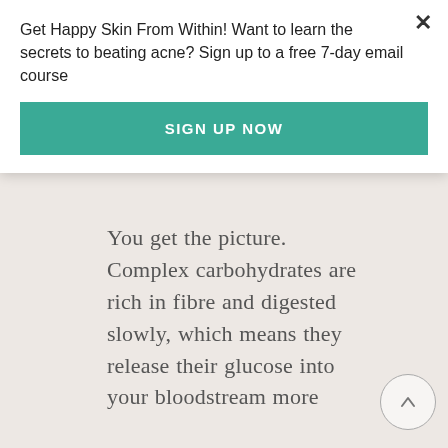Get Happy Skin From Within! Want to learn the secrets to beating acne? Sign up to a free 7-day email course
SIGN UP NOW
[Figure (infographic): Food swap diagram with four rows: White rice → (SWAP FOR) Brown, red or wild rice; White pasta → (SWAP FOR) Wholegrain or brown rice pasta; Cereal → (SWAP FOR) Porridge oats; Crisps → (SWAP FOR) Jacket potato]
You get the picture. Complex carbohydrates are rich in fibre and digested slowly, which means they release their glucose into your bloodstream more